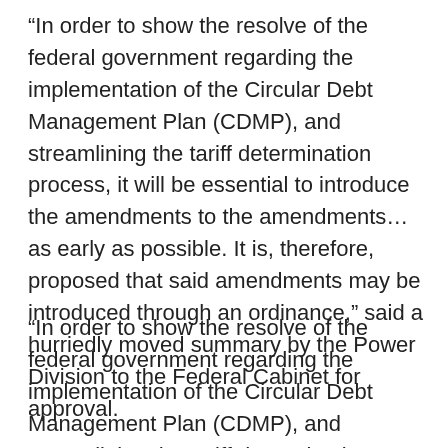“In order to show the resolve of the federal government regarding the implementation of the Circular Debt Management Plan (CDMP), and streamlining the tariff determination process, it will be essential to introduce the amendments to the amendments… as early as possible. It is, therefore, proposed that said amendments may be introduced through an ordinance,” said a hurriedly moved summary by the Power Division to the Federal Cabinet for approval.
“In order to show the resolve of the federal government regarding the implementation of the Circular Debt Management Plan (CDMP), and streamlining the tariff determination process, it will be essential to introduce the amendments to the amendments… as early as possible. It is, therefore, proposed that said amendments may be introduced through an ordinance,” said a hurriedly moved summary by the Power Division to the Federal Cabinet for